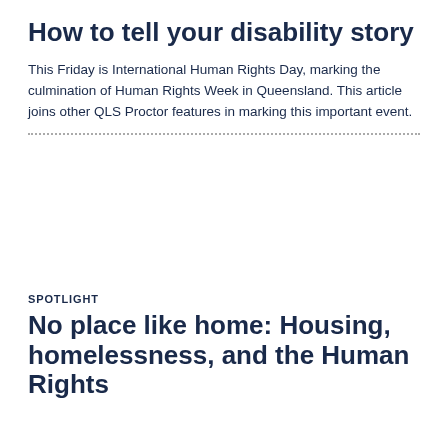How to tell your disability story
This Friday is International Human Rights Day, marking the culmination of Human Rights Week in Queensland. This article joins other QLS Proctor features in marking this important event.
[Figure (photo): Blank white image placeholder area]
SPOTLIGHT
No place like home: Housing, homelessness, and the Human Rights